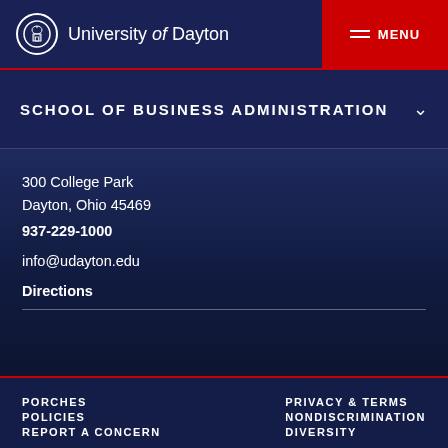University of Dayton | MENU
SCHOOL OF BUSINESS ADMINISTRATION
300 College Park
Dayton, Ohio 45469
937-229-1000

info@udayton.edu

Directions
PORCHES
POLICIES
REPORT A CONCERN
PRIVACY & TERMS
NONDISCRIMINATION
DIVERSITY